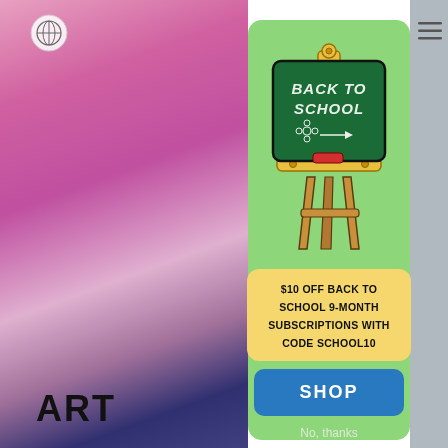[Figure (screenshot): Website screenshot showing a back-to-school promotional modal popup. Left side shows a blurred photo of colorful art supplies with 'ART' text at bottom. Center modal has a green background with a chalkboard illustration on an easel reading 'BACK TO SCHOOL', a yellow promo box, a blue SHOP button, and 'No, thanks' text. Right edge shows a navigation hamburger icon.]
$10 OFF BACK TO SCHOOL 9-MONTH SUBSCRIPTIONS WITH CODE SCHOOL10
SHOP
No, thanks
ART